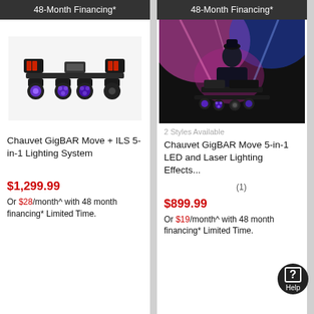48-Month Financing*
[Figure (photo): Chauvet GigBAR Move + ILS 5-in-1 Lighting System product photo on white background]
Chauvet GigBAR Move + ILS 5-in-1 Lighting System
0 out of 5 stars
$1,299.99
Or $28/month^ with 48 month financing* Limited Time.
48-Month Financing*
[Figure (photo): Chauvet GigBAR Move 5-in-1 LED and Laser Lighting Effects product photo showing DJ performing with colorful stage lights]
2 Styles Available
Chauvet GigBAR Move 5-in-1 LED and Laser Lighting Effects...
4.5 out of 5 stars (1)
$899.99
Or $19/month^ with 48 month financing* Limited Time.